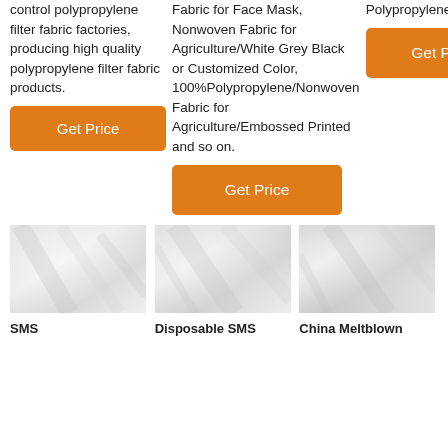control polypropylene filter fabric factories, producing high quality polypropylene filter fabric products.
[Figure (other): Orange 'Get Price' button in column 1]
Fabric for Face Mask, Nonwoven Fabric for Agriculture/White Grey Black or Customized Color, 100%Polypropylene/Nonwoven Fabric for Agriculture/Embossed Printed and so on.
[Figure (other): Orange 'Get Price' button in column 2]
Polypropylene Fabric
[Figure (other): Orange 'Get Price' button in column 3]
[Figure (photo): White nonwoven fabric close-up photo - SMS product]
[Figure (photo): White nonwoven fabric close-up photo - Disposable SMS product]
[Figure (photo): White nonwoven fabric close-up photo - China Meltblown product]
SMS
Disposable SMS
China Meltblown